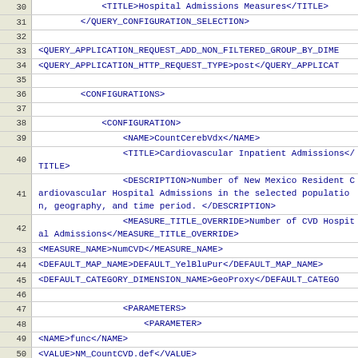[Figure (screenshot): XML source code viewer showing lines 30-51 of an XML configuration file for hospital admissions measures. Line numbers appear in a beige left column. XML tags are shown in dark blue monospace font on white background. Content includes QUERY_CONFIGURATION_SELECTION, QUERY_APPLICATION_REQUEST_ADD_NON_FILTERED_GROUP_BY_DIME, QUERY_APPLICATION_HTTP_REQUEST_TYPE, CONFIGURATIONS, CONFIGURATION, NAME, TITLE, DESCRIPTION, MEASURE_TITLE_OVERRIDE, MEASURE_NAME, DEFAULT_MAP_NAME, DEFAULT_CATEGORY_DIMENSION_NAME, PARAMETERS, PARAMETER, NAME, VALUE tags.]